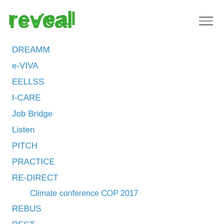[Figure (logo): reveal logo in green with stylized letters]
DREAMM
e-VIVA
EELLSS
I-CARE
Job Bridge
Listen
PITCH
PRACTICE
RE-DIRECT
Climate conference COP 2017
REBUS
REST